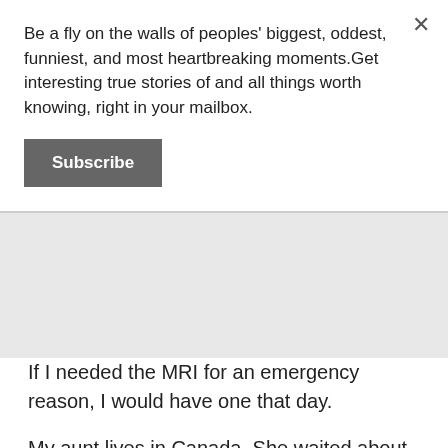Be a fly on the walls of peoples' biggest, oddest, funniest, and most heartbreaking moments.Get interesting true stories of and all things worth knowing, right in your mailbox.
Subscribe
If I needed the MRI for an emergency reason, I would have one that day.
My aunt lives in Canada. She waited about 4